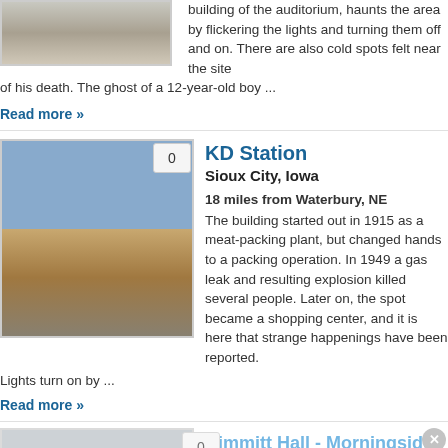[Figure (photo): Partial photo of a building exterior, cropped at top]
building of the auditorium, haunts the area by flickering the lights and turning them off and on. There are also cold spots felt near the site of his death. The ghost of a 12-year-old boy ...
Read more »
[Figure (photo): Outdoor photo of KD Station, a large brick industrial building with a flat landscape and power lines in foreground, blue sky]
KD Station
Sioux City, Iowa
18 miles from Waterbury, NE
The building started out in 1915 as a meat-packing plant, but changed hands to a packing operation. In 1949 a gas leak and resulting explosion killed several people. Later on, the spot became a shopping center, and it is here that strange happenings have been reported.
Lights turn on by ...
Read more »
[Figure (photo): Partial photo, bottom of page, largely grey/obscured]
Dimmitt Hall - Morningside College
Sioux City, Iowa